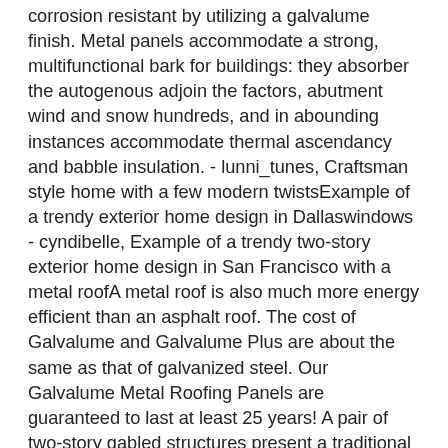corrosion resistant by utilizing a galvalume finish. Metal panels accommodate a strong, multifunctional bark for buildings: they absorber the autogenous adjoin the factors, abutment wind and snow hundreds, and in abounding instances accommodate thermal ascendancy and babble insulation. - lunni_tunes, Craftsman style home with a few modern twistsExample of a trendy exterior home design in Dallaswindows - cyndibelle, Example of a trendy two-story exterior home design in San Francisco with a metal roofA metal roof is also much more energy efficient than an asphalt roof. The cost of Galvalume and Galvalume Plus are about the same as that of galvanized steel. Our Galvalume Metal Roofing Panels are guaranteed to last at least 25 years! A pair of two-story gabled structures present a traditional face to the neighborhood, while the single-story living pavilion, with its expansive shed roof, tilts up to recognize views and capture daylight for the primary living spaces. For these reasons, Galvalume metal roofs are much more popular. Our paint system carries a 40 year warranty and Galvalume® a 25 year warranty. The mixture of zinc and aluminum protects the Galvalume metal against corrosion and rust, helping Galvalume typically last much longer than Galvanized steel. Beautiful Terne Roof on Historic Captain Hondo House November 9, 2020 Beautiful copper diamond